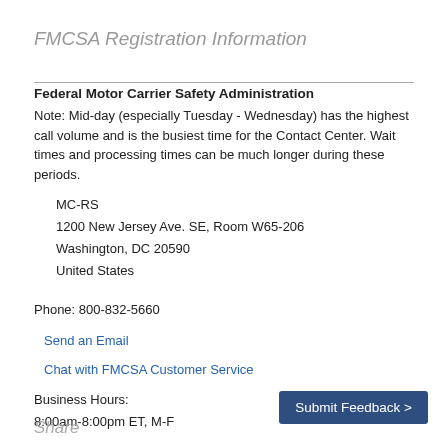FMCSA Registration Information
Federal Motor Carrier Safety Administration
Note: Mid-day (especially Tuesday - Wednesday) has the highest call volume and is the busiest time for the Contact Center. Wait times and processing times can be much longer during these periods.
MC-RS
1200 New Jersey Ave. SE, Room W65-206
Washington, DC 20590
United States
Phone: 800-832-5660
Send an Email
Chat with FMCSA Customer Service
Business Hours:
8:00am-8:00pm ET, M-F
Submit Feedback >
Share